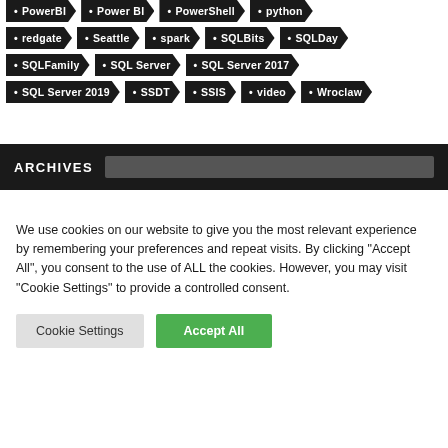• PowerBI • Power BI • PowerShell • python
• redgate • Seattle • spark • SQLBits • SQLDay
• SQLFamily • SQL Server • SQL Server 2017
• SQL Server 2019 • SSDT • SSIS • video • Wroclaw
ARCHIVES
We use cookies on our website to give you the most relevant experience by remembering your preferences and repeat visits. By clicking "Accept All", you consent to the use of ALL the cookies. However, you may visit "Cookie Settings" to provide a controlled consent.
Cookie Settings
Accept All